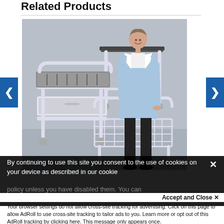Related Products
[Figure (photo): Woman in blue lab coat standing next to multiple white medical/laboratory carts and trolleys with wire baskets and drawers, on a light gray background. Navigation arrows (< and >) are visible on left and right sides.]
By continuing to use this site you consent to the use of cookies on your device as described in our cookie policy unless you have disabled them. You can
Accept and Close ✕
Your browser settings do not allow cross-site tracking for advertising. Click on this page to allow AdRoll to use cross-site tracking to tailor ads to you. Learn more or opt out of this AdRoll tracking by clicking here. This message only appears once.